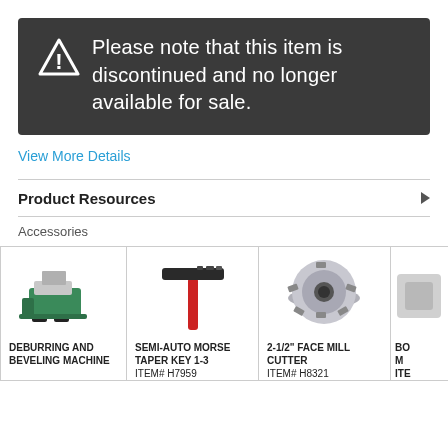Please note that this item is discontinued and no longer available for sale.
View More Details
Product Resources
Accessories
[Figure (photo): Deburring and Beveling Machine product photo]
DEBURRING AND BEVELING MACHINE
[Figure (photo): Semi-Auto Morse Taper Key 1-3 product photo]
SEMI-AUTO MORSE TAPER KEY 1-3
ITEM# H7959
[Figure (photo): 2-1/2" Face Mill Cutter product photo]
2-1/2" FACE MILL CUTTER
ITEM# H8321
[Figure (photo): Partially visible fourth accessory product photo]